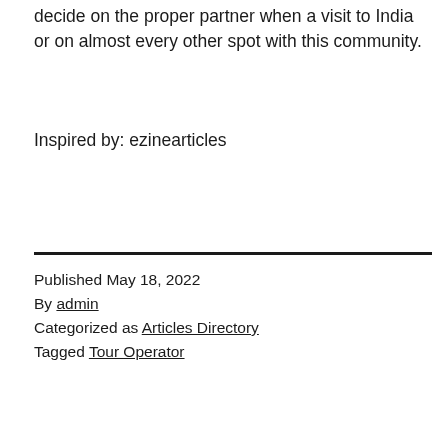decide on the proper partner when a visit to India or on almost every other spot with this community.
Inspired by: ezinearticles
Published May 18, 2022
By admin
Categorized as Articles Directory
Tagged Tour Operator